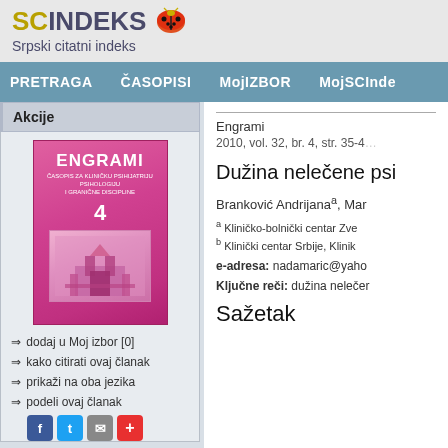[Figure (logo): SCIndeks - Srpski citatni indeks logo with ladybug icon]
PRETRAGA   ČASOPISI   MojIZBOR   MojSCInde
Akcije
[Figure (illustration): ENGRAMI journal cover - issue 4, pink/magenta color with castle image]
⇒ dodaj u Moj izbor [0]
⇒ kako citirati ovaj članak
⇒ prikaži na oba jezika
⇒ podeli ovaj članak
Direktan link
Engrami
2010, vol. 32, br. 4, str. 35-4
Dužina nelečene psi
Branković Andrijanaᵃ, Mar
ᵃ Kliničko-bolnički centar Zve
ᵇ Klinički centar Srbije, Klinik
e-adresa: nadamaric@yaho
Ključne reči: dužina nelečer
Sažetak